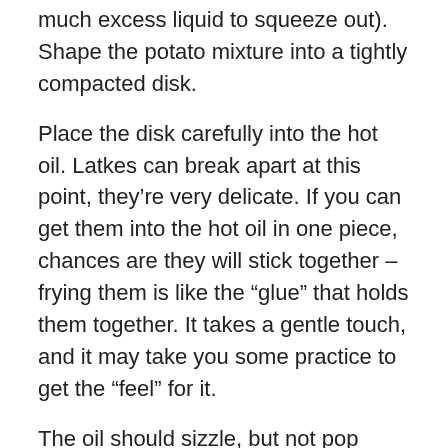much excess liquid to squeeze out).  Shape the potato mixture into a tightly compacted disk.
Place the disk carefully into the hot oil. Latkes can break apart at this point, they're very delicate. If you can get them into the hot oil in one piece, chances are they will stick together – frying them is like the “glue” that holds them together. It takes a gentle touch, and it may take you some practice to get the “feel” for it.
The oil should sizzle, but not pop when the latke hits it; if the oil jumps wildly or smokes, it is too hot. If it only bubbles weakly, the oil is not hot enough. Use the first latke to test the oil temperature, and don’t fry a whole batch until the temperature is right.
Continue shaping the latkes in this way, using 2 tablespoons of potato mixture for each latke. Fry in